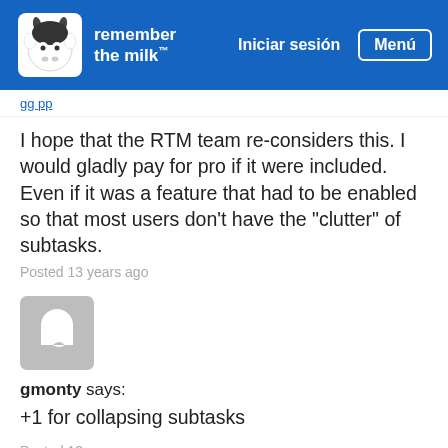remember the milk — Iniciar sesión  Menú
I hope that the RTM team re-considers this. I would gladly pay for pro if it were included. Even if it was a feature that had to be enabled so that most users don't have the "clutter" of subtasks.
Posted 13 years ago
[Figure (illustration): Gray avatar placeholder icon with cow silhouette]
gmonty says:
+1 for collapsing subtasks
Posted 13 years ago
[Figure (illustration): Gray avatar placeholder icon, partially visible at bottom]